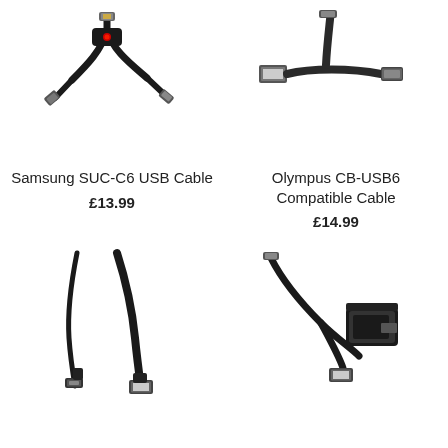[Figure (photo): Samsung SUC-C6 USB cable with red indicator light, showing USB-A and proprietary Samsung connector ends]
Samsung SUC-C6 USB Cable
£13.99
[Figure (photo): Olympus CB-USB6 compatible cable showing USB-A and mini USB connector ends]
Olympus CB-USB6 Compatible Cable
£14.99
[Figure (photo): Micro USB cable with USB-A connector and micro USB connector ends, both black]
[Figure (photo): USB cable with locking connector housing and USB-A connector, both black]